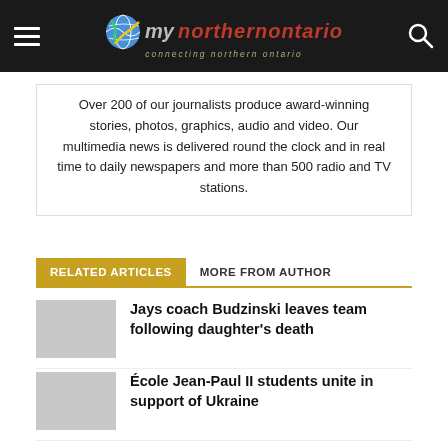my [northern ontario] — connecting northern ontario
Over 200 of our journalists produce award-winning stories, photos, graphics, audio and video. Our multimedia news is delivered round the clock and in real time to daily newspapers and more than 500 radio and TV stations.
RELATED ARTICLES   MORE FROM AUTHOR
Jays coach Budzinski leaves team following daughter's death
École Jean-Paul II students unite in support of Ukraine
Police investigating suspicious death